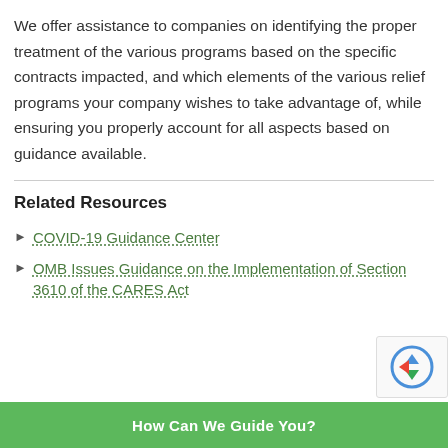We offer assistance to companies on identifying the proper treatment of the various programs based on the specific contracts impacted, and which elements of the various relief programs your company wishes to take advantage of, while ensuring you properly account for all aspects based on guidance available.
Related Resources
► COVID-19 Guidance Center
► OMB Issues Guidance on the Implementation of Section 3610 of the CARES Act
How Can We Guide You?